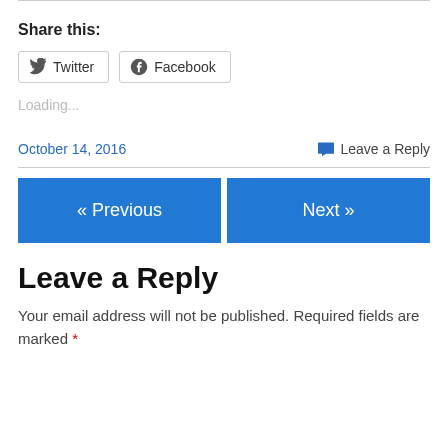Share this:
[Figure (other): Share buttons for Twitter and Facebook]
Loading...
October 14, 2016   Leave a Reply
« Previous   Next »
Leave a Reply
Your email address will not be published. Required fields are marked *